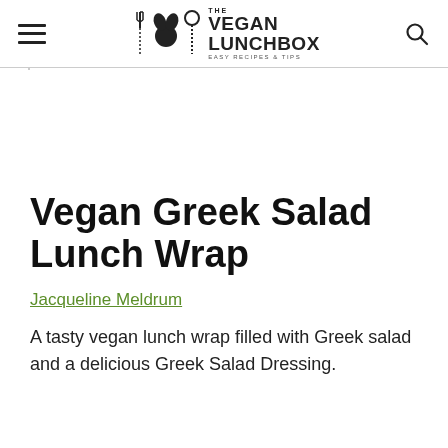THE VEGAN LUNCHBOX — EASY RECIPES & TIPS
Vegan Greek Salad Lunch Wrap
Jacqueline Meldrum
A tasty vegan lunch wrap filled with Greek salad and a delicious Greek Salad Dressing.